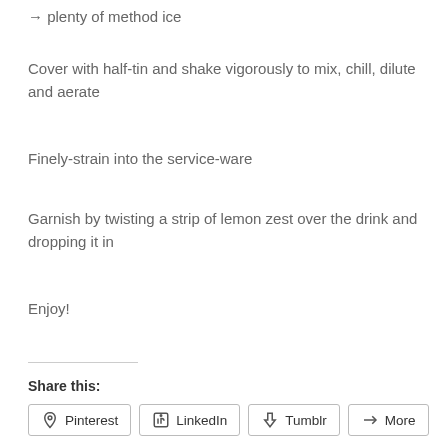→ plenty of method ice
Cover with half-tin and shake vigorously to mix, chill, dilute and aerate
Finely-strain into the service-ware
Garnish by twisting a strip of lemon zest over the drink and dropping it in
Enjoy!
Share this:
Pinterest  LinkedIn  Tumblr  More